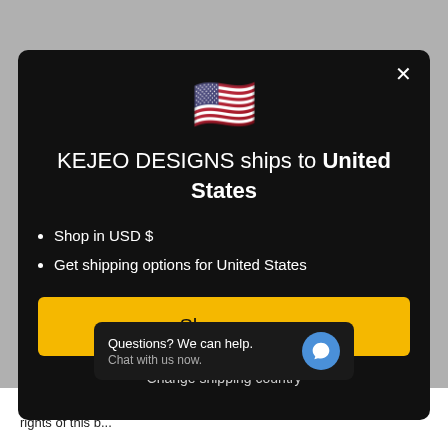[Figure (screenshot): US flag emoji displayed in modal dialog]
KEJEO DESIGNS ships to United States
Shop in USD $
Get shipping options for United States
Shop now
Change shipping country
Questions? We can help. Chat with us now.
incorporate by reference, or your violation of any law or the rights of this by...